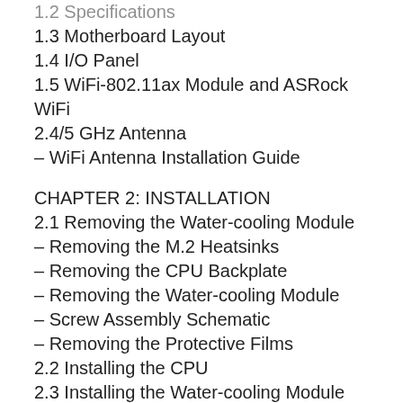1.2 Specifications (truncated top)
1.3 Motherboard Layout
1.4 I/O Panel
1.5 WiFi-802.11ax Module and ASRock WiFi 2.4/5 GHz Antenna
– WiFi Antenna Installation Guide
CHAPTER 2: INSTALLATION
2.1 Removing the Water-cooling Module
– Removing the M.2 Heatsinks
– Removing the CPU Backplate
– Removing the Water-cooling Module
– Screw Assembly Schematic
– Removing the Protective Films
2.2 Installing the CPU
2.3 Installing the Water-cooling Module
– Installing the CPU Backplate
– Installing the M.2 Heatsinks
2.4 Installing Memory Module (DIMM) (truncated bottom)